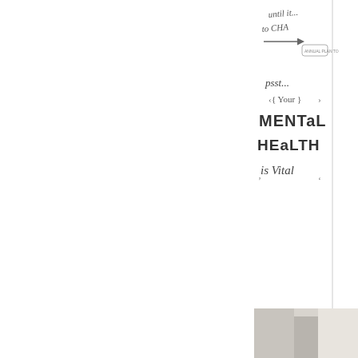[Figure (illustration): Hand-lettered illustration showing text 'psst... { Your } MENTaL HEaLTH is Vital' with decorative lettering style, partially cropped. Upper portion shows additional hand-lettered text partially visible reading 'until it... to CHA...' with an arrow and what appears to be a book cover. White background with pencil/sketch style artwork.]
workshops, once you ha... want/whenever you wan... simple...just takes time b...
This workshop includes:
6 Process Passw...
25 PDF Worksh...
Traceables & Co...
3 Project Videos...
[Figure (photo): Partial photograph visible at bottom right corner, appears to show a person or object, mostly cropped out of frame.]